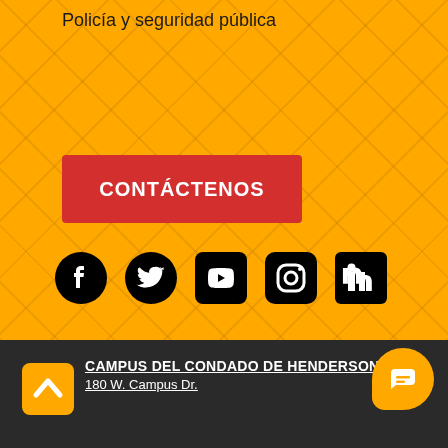Policía y seguridad pública
CONTÁCTENOS
[Figure (illustration): Social media icons row: Facebook, Twitter, YouTube, Instagram, LinkedIn — all black on yellow background]
[Figure (logo): Yellow rounded square logo with upward chevron arrow, in dark footer]
CAMPUS DEL CONDADO DE HENDERSON
180 W. Campus Dr.
[Figure (illustration): Yellow rounded speech bubble chat icon in bottom right corner]